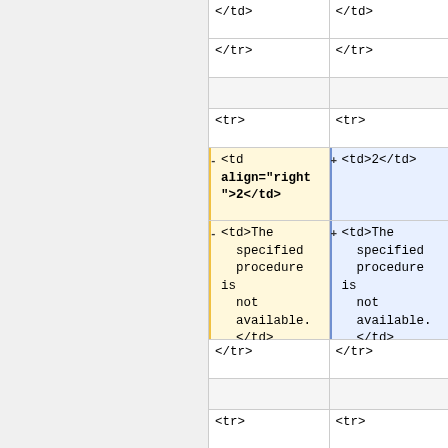| Old | New |
| --- | --- |
| </td> | </td> |
| </tr> | </tr> |
|  |  |
| <tr> | <tr> |
| <td align="right">2</td> | <td>2</td> |
| <td>The specified procedure is not available.</td> | <td>The specified procedure is not available.</td> |
| </tr> | </tr> |
|  |  |
| <tr> | <tr> |
| <td | <td>4</td> |